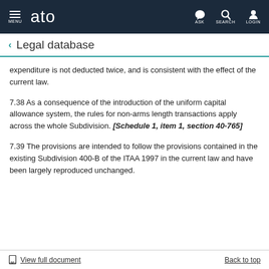ATO - MENU | ASK | SEARCH | LOGIN
Legal database
expenditure is not deducted twice, and is consistent with the effect of the current law.
7.38 As a consequence of the introduction of the uniform capital allowance system, the rules for non-arms length transactions apply across the whole Subdivision. [Schedule 1, item 1, section 40-765]
7.39 The provisions are intended to follow the provisions contained in the existing Subdivision 400-B of the ITAA 1997 in the current law and have been largely reproduced unchanged.
View full document | Back to top